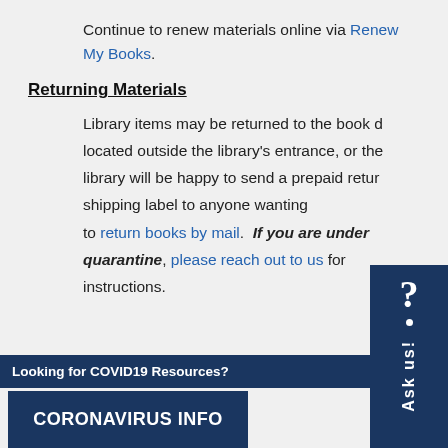Continue to renew materials online via Renew My Books.
Returning Materials
Library items may be returned to the book drop located outside the library's entrance, or the library will be happy to send a prepaid return shipping label to anyone wanting to return books by mail. If you are under quarantine, please reach out to us for instructions.
Looking for COVID19 Resources?
CORONAVIRUS INFO